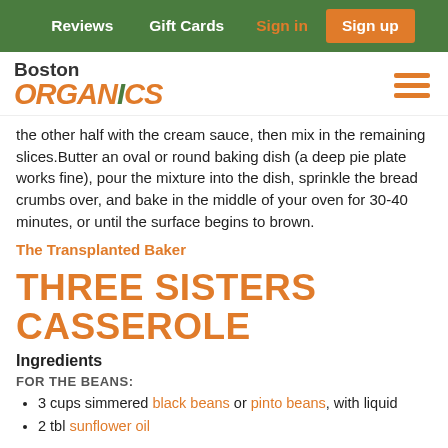Reviews | Gift Cards | Sign in | Sign up
[Figure (logo): Boston Organics logo with plant/vegetable illustration and hamburger menu icon]
the other half with the cream sauce, then mix in the remaining slices.Butter an oval or round baking dish (a deep pie plate works fine), pour the mixture into the dish, sprinkle the bread crumbs over, and bake in the middle of your oven for 30-40 minutes, or until the surface begins to brown.
The Transplanted Baker
THREE SISTERS CASSEROLE
Ingredients
FOR THE BEANS:
3 cups simmered black beans or pinto beans, with liquid
2 tbl sunflower oil